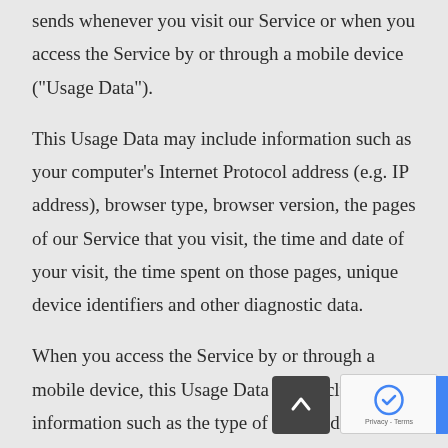sends whenever you visit our Service or when you access the Service by or through a mobile device ("Usage Data").
This Usage Data may include information such as your computer's Internet Protocol address (e.g. IP address), browser type, browser version, the pages of our Service that you visit, the time and date of your visit, the time spent on those pages, unique device identifiers and other diagnostic data.
When you access the Service by or through a mobile device, this Usage Data may include information such as the type of mobile device you use, your mobile device unique ID, the IP address of your mobile device, your